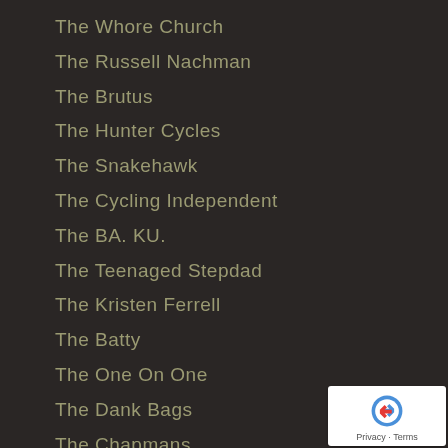The Whore Church
The Russell Nachman
The Brutus
The Hunter Cycles
The Snakehawk
The Cycling Independent
The BA. KU.
The Teenaged Stepdad
The Kristen Ferrell
The Batty
The One On One
The Dank Bags
The Chapmans
The Otherness
The Revolting Cogs
The Vice TV